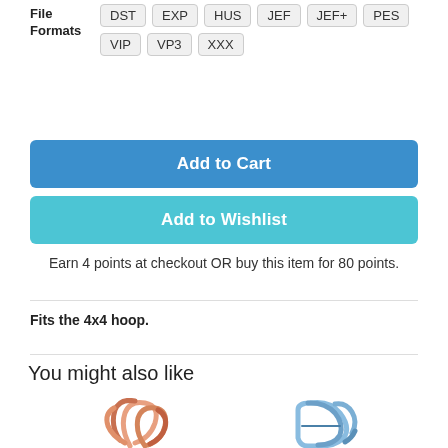File Formats  DST  EXP  HUS  JEF  JEF+  PES  VIP  VP3  XXX
Add to Cart
Add to Wishlist
Earn 4 points at checkout OR buy this item for 80 points.
Fits the 4x4 hoop.
You might also like
[Figure (illustration): Embroidery monogram illustration with orange/salmon colored decorative swirling letter design]
[Figure (illustration): Embroidery monogram illustration with blue colored decorative letter D design]